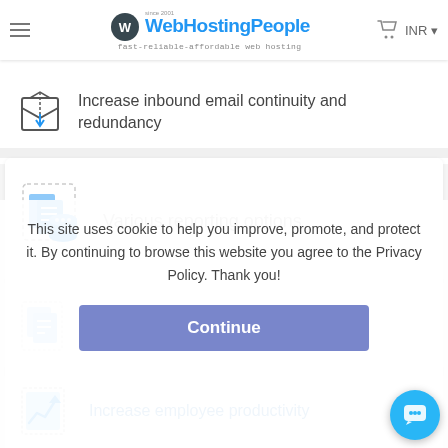[Figure (logo): WebHostingPeople logo with hamburger menu, cart icon and INR currency selector]
Increase inbound email continuity and redundancy
Various reporting options
Friendly interface to keep you in full control over your email
This site uses cookie to help you improve, promote, and protect it. By continuing to browse this website you agree to the Privacy Policy. Thank you!
Continue
Increase employee productivity